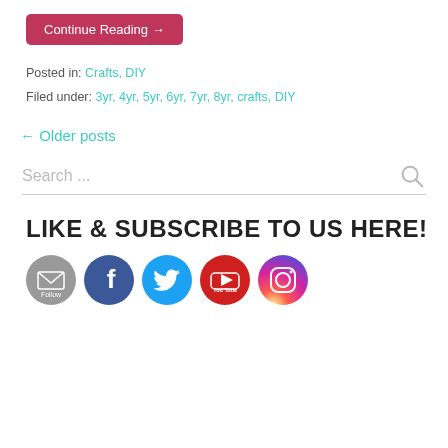Continue Reading →
Posted in: Crafts, DIY
Filed under: 3yr, 4yr, 5yr, 6yr, 7yr, 8yr, crafts, DIY
← Older posts
Search ...
LIKE & SUBSCRIBE TO US HERE!
[Figure (infographic): Row of 5 social media icons: Follow (email/grey), Facebook (blue), Twitter (light blue), YouTube (red), Instagram (gradient purple-red-yellow)]